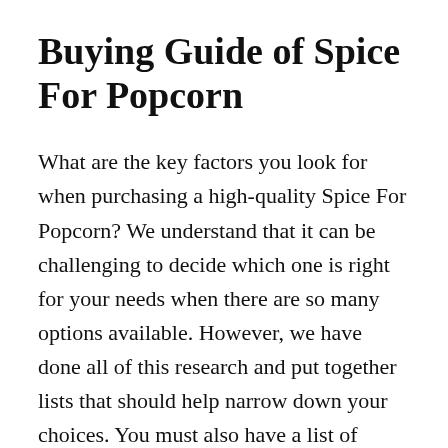Buying Guide of Spice For Popcorn
What are the key factors you look for when purchasing a high-quality Spice For Popcorn? We understand that it can be challenging to decide which one is right for your needs when there are so many options available. However, we have done all of this research and put together lists that should help narrow down your choices. You must also have a list of questions on your mind. Although Consume with Care has done everything we can to help you, it is still imperative for you to do your own research. You